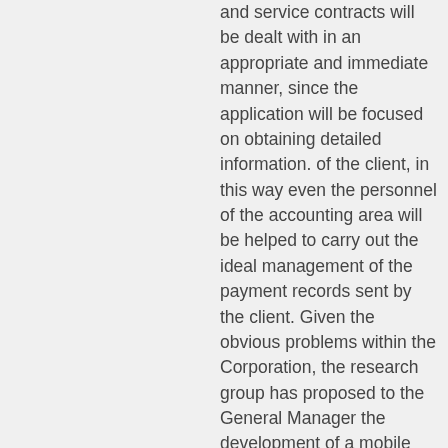and service contracts will be dealt with in an appropriate and immediate manner, since the application will be focused on obtaining detailed information. of the client, in this way even the personnel of the accounting area will be helped to carry out the ideal management of the payment records sent by the client. Given the obvious problems within the Corporation, the research group has proposed to the General Manager the development of a mobile application for administrative management in the area of the technical support department and the accounting department of the Corporation, thus hoping to remedy the current problems with the clientele and the economic part of it. The present